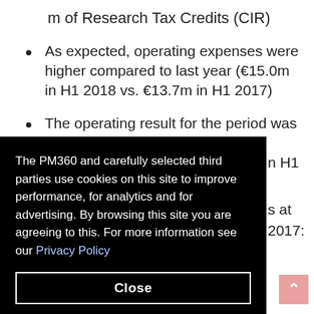m of Research Tax Credits (CIR)
As expected, operating expenses were higher compared to last year (€15.0m in H1 2018 vs. €13.7m in H1 2017)
The operating result for the period was a
n H1
s at
2017:
The PM360 and carefully selected third parties use cookies on this site to improve performance, for analytics and for advertising. By browsing this site you are agreeing to this. For more information see our Privacy Policy
Close